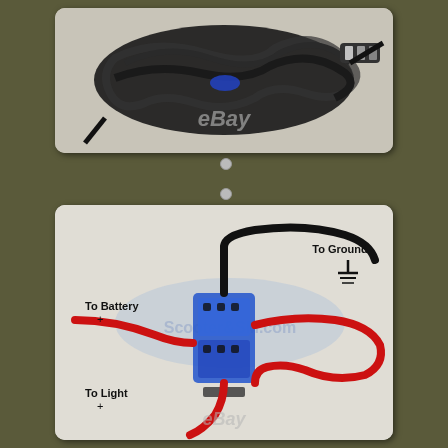[Figure (photo): Product photo showing black wiring harness/cables coiled on white background with eBay watermark]
[Figure (schematic): Wiring diagram showing a relay switch with labeled connections: To Battery +, To Ground (with ground symbol), To Light +. Black wire goes to ground at top right, red wire loops from battery through relay to light. Blue relay body shown in center. Scooter&SM.com watermark and eBay watermark visible.]